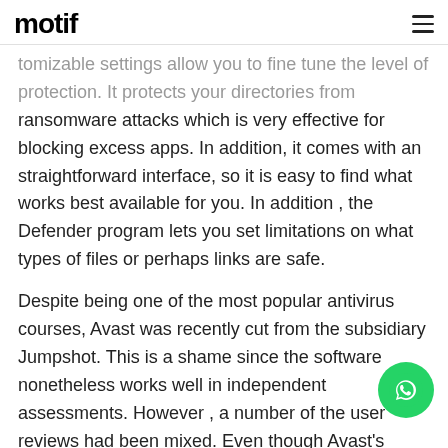motif
tomizable settings allow you to fine tune the level of protection. It protects your directories from ransomware attacks which is very effective for blocking excess apps. In addition, it comes with an straightforward interface, so it is easy to find what works best available for you. In addition , the Defender program lets you set limitations on what types of files or perhaps links are safe.
Despite being one of the most popular antivirus courses, Avast was recently cut from the subsidiary Jumpshot. This is a shame since the software nonetheless works well in independent assessments. However , a number of the user reviews had been mixed. Even though Avast's features are impressive, its https://antiviruscompany.net/ interface is definite. A lot of users discover the software hard to use,